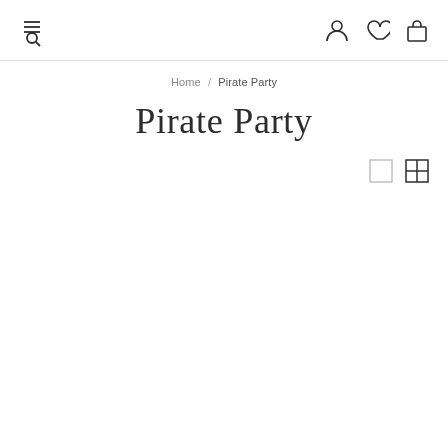Navigation header with menu/search icon, user icon, heart/wishlist icon, and bag/cart icon
Home / Pirate Party
Pirate Party
[Figure (other): View toggle icons: single large tile view and four-grid view]